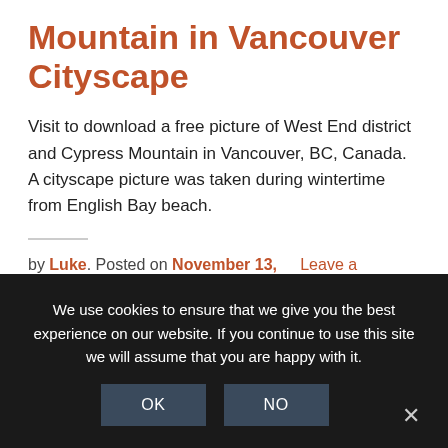Mountain in Vancouver Cityscape
Visit to download a free picture of West End district and Cypress Mountain in Vancouver, BC, Canada. A cityscape picture was taken during wintertime from English Bay beach.
by Luke. Posted on November 13, 2019   Leave a comment
We use cookies to ensure that we give you the best experience on our website. If you continue to use this site we will assume that you are happy with it.